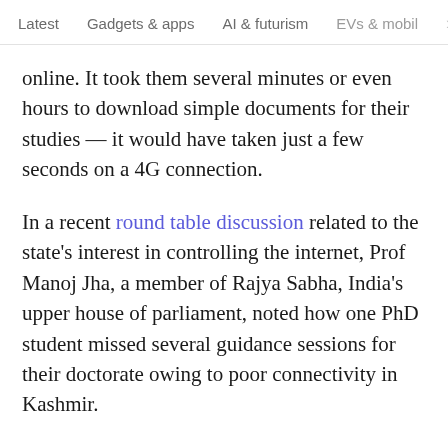Latest  Gadgets & apps  AI & futurism  EVs & mobil  >
online. It took them several minutes or even hours to download simple documents for their studies — it would have taken just a few seconds on a 4G connection.
In a recent round table discussion related to the state's interest in controlling the internet, Prof Manoj Jha, a member of Rajya Sabha, India's upper house of parliament, noted how one PhD student missed several guidance sessions for their doctorate owing to poor connectivity in Kashmir.
Software Freedom Law Centre India, a digital rights nonprofit, interviewed numerous business people and students to get a sense of the effects of the